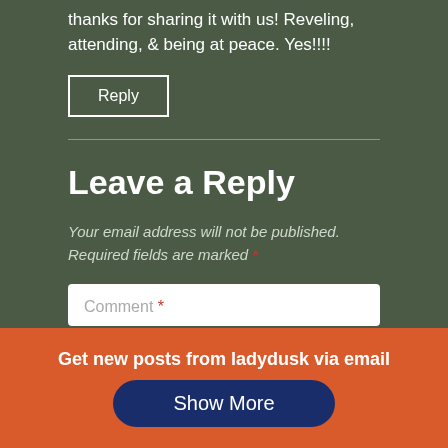thanks for sharing it with us! Reveling, attending, & being at peace. Yes!!!!
Reply
Leave a Reply
Your email address will not be published. Required fields are marked *
Comment *
Get new posts from ladydusk via email
Show More